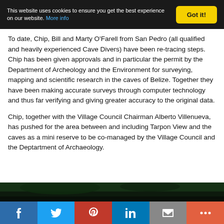This website uses cookies to ensure you get the best experience on our website. More info [Got it!]
To date, Chip, Bill and Marty O'Farell from San Pedro (all qualified and heavily experienced Cave Divers) have been re-tracing steps. Chip has been given approvals and in particular the permit by the Department of Archeology and the Environment for surveying, mapping and scientific research in the caves of Belize. Together they have been making accurate surveys through computer technology and thus far verifying and giving greater accuracy to the original data.
Chip, together with the Village Council Chairman Alberto Villenueva, has pushed for the area between and including Tarpon View and the caves as a mini reserve to be co-managed by the Village Council and the Deptartment of Archaeology.
[Figure (photo): Dark underwater cave photo strip at bottom of page]
Social share bar: Facebook, Twitter, Pinterest, LinkedIn, Email, More